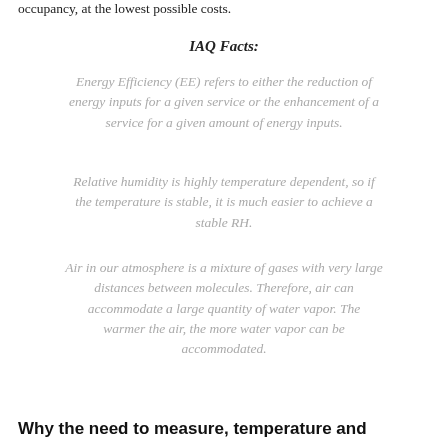occupancy, at the lowest possible costs.
IAQ Facts:
Energy Efficiency (EE) refers to either the reduction of energy inputs for a given service or the enhancement of a service for a given amount of energy inputs.
Relative humidity is highly temperature dependent, so if the temperature is stable, it is much easier to achieve a stable RH.
Air in our atmosphere is a mixture of gases with very large distances between molecules. Therefore, air can accommodate a large quantity of water vapor. The warmer the air, the more water vapor can be accommodated.
Why the need to measure, temperature and